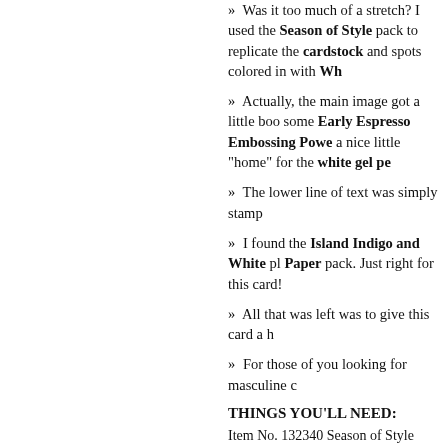» Was it too much of a stretch?  I used the Season of Style pack to replicate the cardstock and spots colored in with Wh
» Actually, the main image got a little boo some Early Espresso Embossing Pow a nice little "home" for the white gel pe
» The lower line of text was simply stamp
» I found the Island Indigo and White pl Paper pack.  Just right for this card!
» All that was left was to give this card a h
» For those of you looking for masculine c
THINGS YOU'LL NEED:
Item No. 132340 Season of Style Designer Series Paper (12"x12") $10.95 OR
Item No. 132181 Season fo Style Designer Series Paper Stack (4-1/2"x6-1/2") $6.95
Item No. 126392 Animal Talk stamp set wood $26.95 OR
Item No. 126392 Animal Talk d...